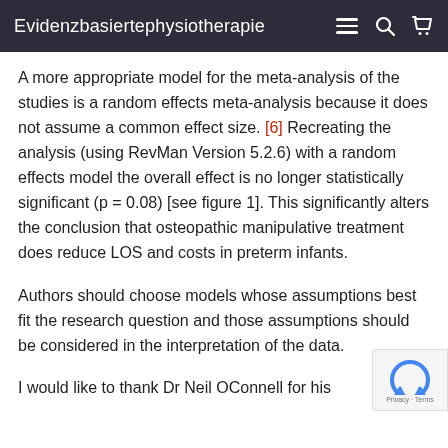Evidenzbasiertephysiotherapie
A more appropriate model for the meta-analysis of the studies is a random effects meta-analysis because it does not assume a common effect size. [6] Recreating the analysis (using RevMan Version 5.2.6) with a random effects model the overall effect is no longer statistically significant (p = 0.08) [see figure 1]. This significantly alters the conclusion that osteopathic manipulative treatment does reduce LOS and costs in preterm infants.
Authors should choose models whose assumptions best fit the research question and those assumptions should be considered in the interpretation of the data.
I would like to thank Dr Neil OConnell for his